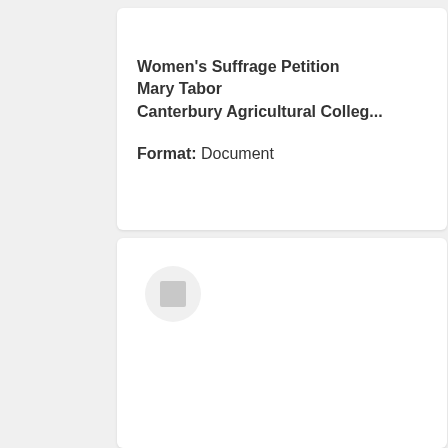Women's Suffrage Petition
Mary Tabor
Canterbury Agricultural Colleg...
Format: Document
[Figure (other): A small grey square icon centered within a circular light grey background, serving as a thumbnail placeholder in the second card.]